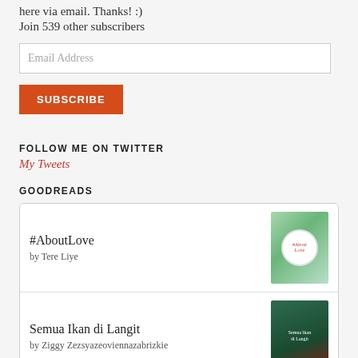here via email. Thanks! :)
Join 539 other subscribers
Email Address
SUBSCRIBE
FOLLOW ME ON TWITTER
My Tweets
GOODREADS
| Title | Author | Cover |
| --- | --- | --- |
| #AboutLove | by Tere Liye |  |
| Semua Ikan di Langit | by Ziggy Zezsyazeoviennazabrizkie |  |
| Si Anak Cahaya |  |  |